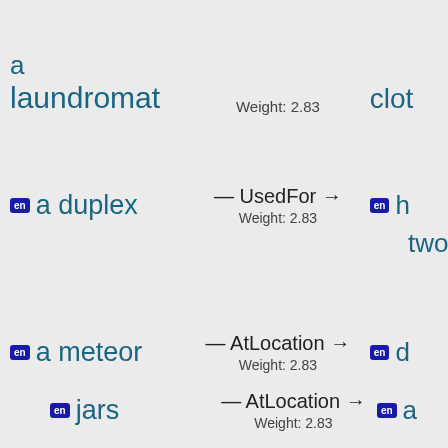a laundromat
Weight: 2.83
clot
en a duplex — UsedFor → Weight: 2.83
en h two
en a meteor — AtLocation → Weight: 2.83
en d
en jars — AtLocation → Weight: 2.83
en a